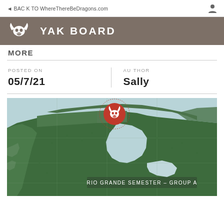BACK TO WhereThereBeDragons.com
YAK BOARD
MORE
POSTED ON
05/7/21
AUTHOR
Sally
[Figure (map): Map of Canada/North America with a yak skull pin marker indicating RIO GRANDE SEMESTER - GROUP A location]